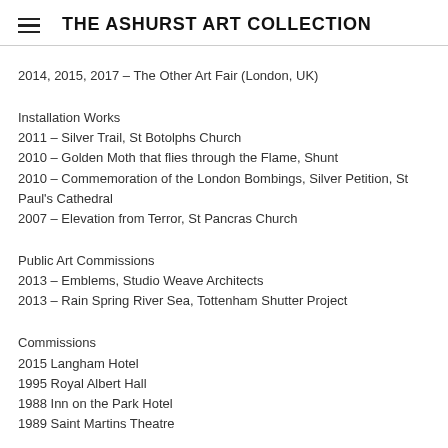THE ASHURST ART COLLECTION
2014, 2015, 2017 – The Other Art Fair (London, UK)
Installation Works
2011 – Silver Trail, St Botolphs Church
2010 – Golden Moth that flies through the Flame, Shunt
2010 – Commemoration of the London Bombings, Silver Petition, St Paul's Cathedral
2007 – Elevation from Terror, St Pancras Church
Public Art Commissions
2013 – Emblems, Studio Weave Architects
2013 – Rain Spring River Sea, Tottenham Shutter Project
Commissions
2015 Langham Hotel
1995 Royal Albert Hall
1988 Inn on the Park Hotel
1989 Saint Martins Theatre